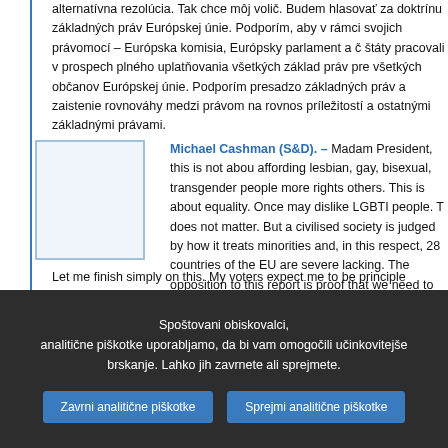alternatívna rezolúcia. Tak chce môj volič. Budem hlasovať za doktrínu základných práv Európskej únie. Podporím, aby v rámci svojich právomocí – Európska komisia, Európsky parlament a členské štáty pracovali v prospech plného uplatňovania všetkých základných práv pre všetkých občanov Európskej únie. Podporím presadzovanie základných práv a zaistenie rovnováhy medzi právom na rovnosť príležitostí a ostatnými základnými právami.
Michael Cashman (S&D). - Madam President, this is not about affording lesbian, gay, bisexual, transgender people more rights than others. This is about equality. Once may dislike LGBTI people. That does not matter. But a civilised society is judged by how it treats its minorities and, in this respect, 28 countries of the EU are severely lacking. The opposition to this report is proof that we need to take action to combat hatred and discrimination. The intolerance shown is terrifying in this, the 21st Century. Why should not LGBTI people be afforded equal rights – not preferential rights, but equal rights?
Let me finish simply on this. My voters expect me to be principled, courageous and to do the right thing and I will vote in favour of the Lunacek report because either we are, as a society, equal and o...
Spoštovani obiskovalci, analitične piškotke uporabljamo, da bi vam omogočili učinkovitejše brskanje. Lahko jih zavrnete ali sprejmete.
Zavrni analitične piškotke
Sprejmi analitične piškotke